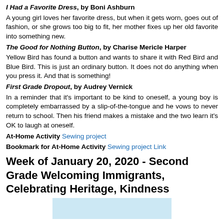I Had a Favorite Dress, by Boni Ashburn — A young girl loves her favorite dress, but when it gets worn, goes out of fashion, or she grows too big to fit, her mother fixes up her old favorite into something new.
The Good for Nothing Button, by Charise Mericle Harper — Yellow Bird has found a button and wants to share it with Red Bird and Blue Bird. This is just an ordinary button. It does not do anything when you press it. And that is something!
First Grade Dropout, by Audrey Vernick — In a reminder that it's important to be kind to oneself, a young boy is completely embarrassed by a slip-of-the-tongue and he vows to never return to school. Then his friend makes a mistake and the two learn it's OK to laugh at oneself.
At-Home Activity Sewing project
Bookmark for At-Home Activity Sewing project Link
Week of January 20, 2020 - Second Grade Welcoming Immigrants, Celebrating Heritage, Kindness
[Figure (photo): Light blue rectangular image placeholder at the bottom of the page]